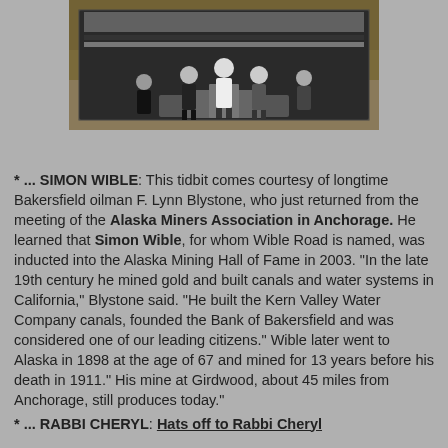[Figure (photo): Group of cyclists/athletes standing on a podium in front of a sponsor banner backdrop, outdoors with autumn foliage in background.]
* ... SIMON WIBLE: This tidbit comes courtesy of longtime Bakersfield oilman F. Lynn Blystone, who just returned from the meeting of the Alaska Miners Association in Anchorage. He learned that Simon Wible, for whom Wible Road is named, was inducted into the Alaska Mining Hall of Fame in 2003. "In the late 19th century he mined gold and built canals and water systems in California," Blystone said. "He built the Kern Valley Water Company canals, founded the Bank of Bakersfield and was considered one of our leading citizens." Wible later went to Alaska in 1898 at the age of 67 and mined for 13 years before his death in 1911." His mine at Girdwood, about 45 miles from Anchorage, still produces today."
* ... RABBI CHERYL: Hats off to Rabbi Cheryl